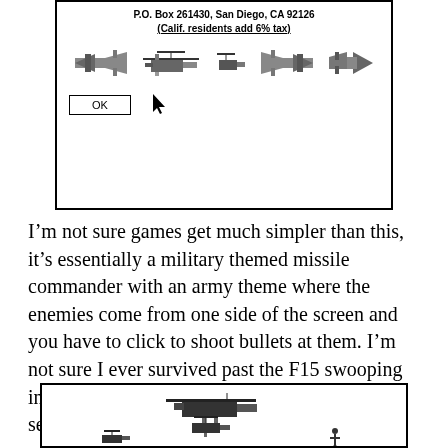[Figure (screenshot): Game registration dialog box showing P.O. Box address in San Diego, CA 92126, note about Calif. residents adding 6% tax, pixel-art military aircraft sprites, and an OK button with a cursor arrow.]
I’m not sure games get much simpler than this, it’s essentially a military themed missile commander with an army theme where the enemies come from one side of the screen and you have to click to shoot bullets at them. I’m not sure I ever survived past the F15 swooping in, the memory  of the roar of it’s engines still sends a shiver down my spine.
[Figure (screenshot): Game screenshot showing pixel-art military helicopters and aircraft on a white background, with a small human figure silhouette visible at the bottom right.]